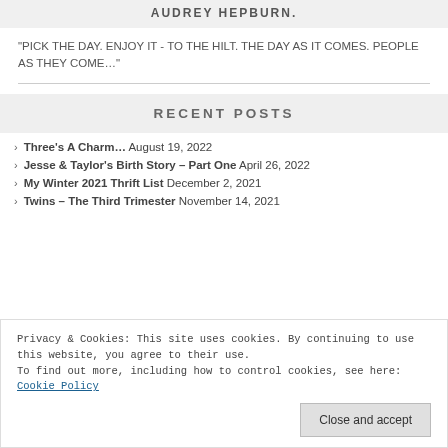AUDREY HEPBURN.
"PICK THE DAY. ENJOY IT - TO THE HILT. THE DAY AS IT COMES. PEOPLE AS THEY COME..."
RECENT POSTS
Three's A Charm... August 19, 2022
Jesse & Taylor's Birth Story – Part One April 26, 2022
My Winter 2021 Thrift List December 2, 2021
Twins – The Third Trimester November 14, 2021
Privacy & Cookies: This site uses cookies. By continuing to use this website, you agree to their use. To find out more, including how to control cookies, see here: Cookie Policy